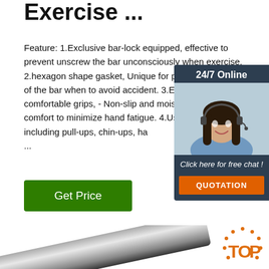Exercise ...
Feature: 1.Exclusive bar-lock equipped, effective to prevent unscrew the bar unconsciously when exercise. 2.hexagon shape gasket, Unique for prevent any rotation of the bar when to avoid accident. 3.Extra-long comfortable grips, - Non-slip and moisture-absorb for comfort to minimize hand fatigue. 4.Use exercises including pull-ups, chin-ups, ha ...
[Figure (photo): Customer service chat widget showing a woman with headset, '24/7 Online' header, 'Click here for free chat!' text, and an orange QUOTATION button on dark blue background]
[Figure (other): Green 'Get Price' button]
[Figure (photo): Metallic horizontal bar (chrome/steel exercise bar) at bottom of image with TOP logo watermark in orange on right side]